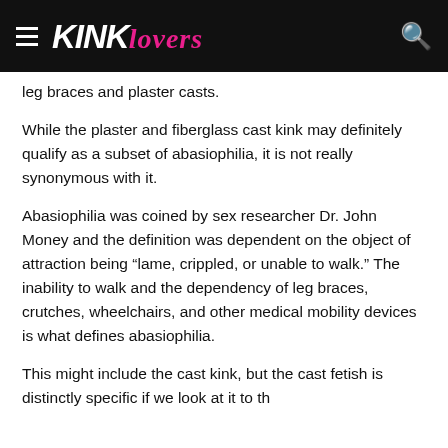KINK Lovers
leg braces and plaster casts.
While the plaster and fiberglass cast kink may definitely qualify as a subset of abasiophilia, it is not really synonymous with it.
Abasiophilia was coined by sex researcher Dr. John Money and the definition was dependent on the object of attraction being “lame, crippled, or unable to walk.” The inability to walk and the dependency of leg braces, crutches, wheelchairs, and other medical mobility devices is what defines abasiophilia.
This might include the cast kink, but the cast fetish is distinctly specific if we look at it to the...